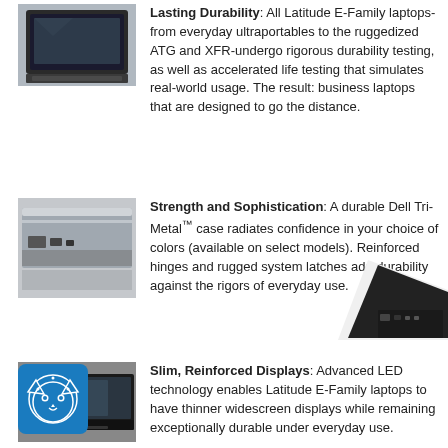[Figure (photo): Dell Latitude laptop viewed from above/front at an angle]
Lasting Durability: All Latitude E-Family laptops-from everyday ultraportables to the ruggedized ATG and XFR-undergo rigorous durability testing, as well as accelerated life testing that simulates real-world usage. The result: business laptops that are designed to go the distance.
[Figure (photo): Close-up of Dell laptop side/port area showing metallic finish]
Strength and Sophistication: A durable Dell Tri-Metal™ case radiates confidence in your choice of colors (available on select models). Reinforced hinges and rugged system latches add durability against the rigors of everyday use.
[Figure (photo): Dell laptop side view showing slim profile and display]
Slim, Reinforced Displays: Advanced LED technology enables Latitude E-Family laptops to have thinner widescreen displays while remaining exceptionally durable under everyday use.
[Figure (photo): Dell laptop corner/side view at bottom right of page]
[Figure (logo): Blue circular logo with stylized cat face]